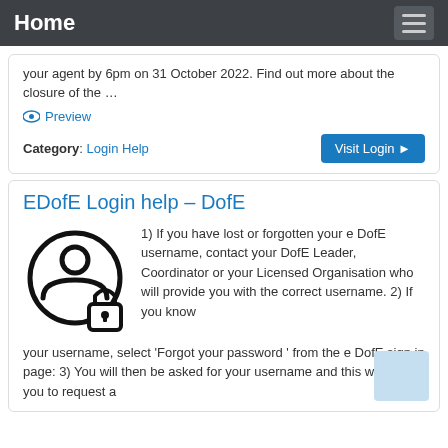Home
your agent by 6pm on 31 October 2022. Find out more about the closure of the …
Preview
Category: Login Help
EDofE Login help – DofE
[Figure (illustration): A person silhouette with a padlock icon, indicating login/security]
1) If you have lost or forgotten your e DofE username, contact your DofE Leader, Coordinator or your Licensed Organisation who will provide you with the correct username. 2) If you know your username, select 'Forgot your password ' from the e DofE sign in page: 3) You will then be asked for your username and this will allow you to request a